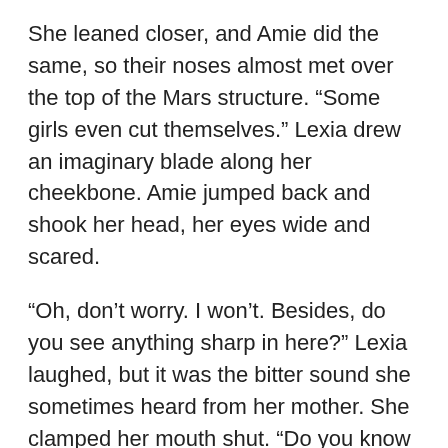She leaned closer, and Amie did the same, so their noses almost met over the top of the Mars structure. “Some girls even cut themselves.” Lexia drew an imaginary blade along her cheekbone. Amie jumped back and shook her head, her eyes wide and scared.
“Oh, don’t worry. I won’t. Besides, do you see anything sharp in here?” Lexia laughed, but it was the bitter sound she sometimes heard from her mother. She clamped her mouth shut. “Do you know how hard it is to build anything without something sharp?”
Amie’s gaze went to the Mars station, then lighted on Lexia’s face. Her hand moved again, first in the air, then on the table surface, like when she’d taught Lexia her name, but different.